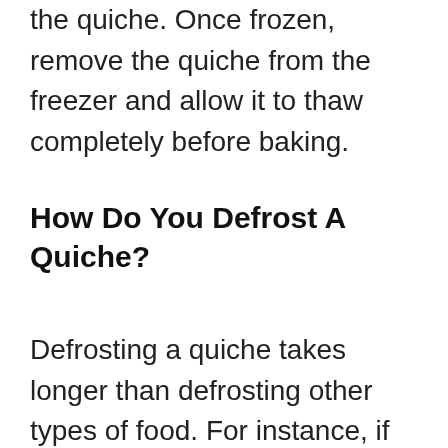the quiche. Once frozen, remove the quiche from the freezer and allow it to thaw completely before baking.
How Do You Defrost A Quiche?
Defrosting a quiche takes longer than defrosting other types of food. For instance, if you defrost a pie crust, you